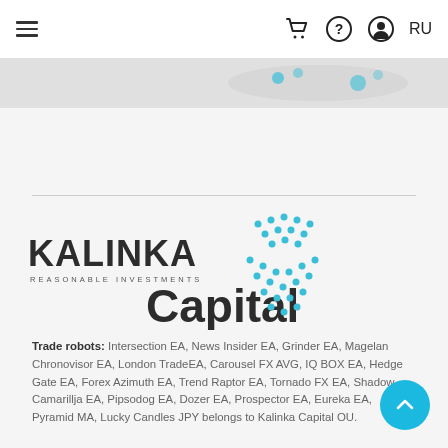≡  🛒  ?  👤  RU
[Figure (logo): Kalinka Capital logo with teal dotted chevron/arrow graphic and text KALINKA REASONABLE INVESTMENTS Capital]
Trade robots: Intersection EA, News Insider EA, Grinder EA, Magelan Chronovisor EA, London TradeEA, Carousel FX AVG, IQ BOX EA, Hedge Gate EA, Forex Azimuth EA, Trend Raptor EA, Tornado FX EA, Shadow Camarillja EA, Pipsodog EA, Dozer EA, Prospector EA, Eureka EA, Pyramid MA, Lucky Candles JPY belongs to Kalinka Capital OU.
CONTACT
Tallinna mnt.26, 20304 Narva, Estonia
support@kalinkacapital.ee
+372 3232 044